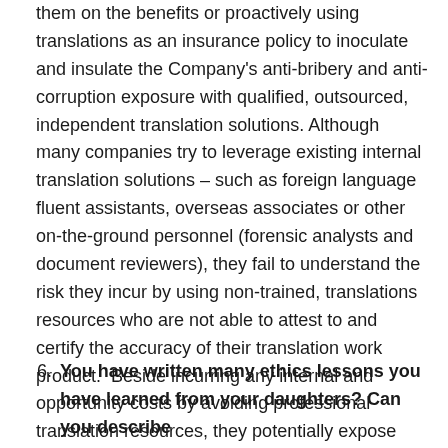them on the benefits or proactively using translations as an insurance policy to inoculate and insulate the Company's anti-bribery and anti-corruption exposure with qualified, outsourced, independent translation solutions. Although many companies try to leverage existing internal translation solutions – such as foreign language fluent assistants, overseas associates or other on-the-ground personnel (forensic analysts and document reviewers), they fail to understand the risk they incur by using non-trained, translations resources who are not able to attest to and certify the accuracy of their translation work product.  Beside incurring any internal and opportunity costs by avoiding professional translation resources, they potentially expose themselves to a greater risk.
6. You have written many ethics lessons you have learned from your daughters? Can you describe